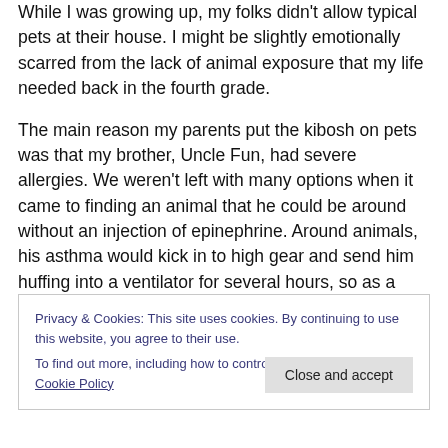While I was growing up, my folks didn't allow typical pets at their house. I might be slightly emotionally scarred from the lack of animal exposure that my life needed back in the fourth grade.
The main reason my parents put the kibosh on pets was that my brother, Uncle Fun, had severe allergies. We weren't left with many options when it came to finding an animal that he could be around without an injection of epinephrine. Around animals, his asthma would kick in to high gear and send him huffing into a ventilator for several hours, so as a general rule, pets were out. Uncle Fun
Privacy & Cookies: This site uses cookies. By continuing to use this website, you agree to their use.
To find out more, including how to control cookies, see here: Cookie Policy
Close and accept